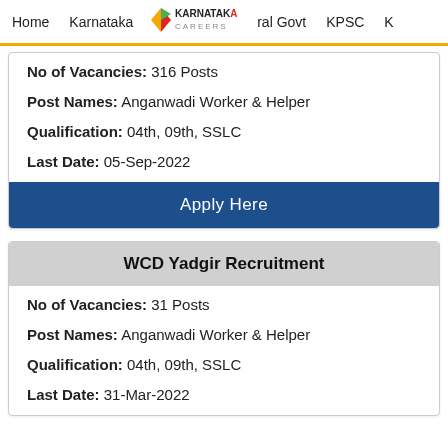Home   Karnataka   Karnataka Careers   ral Govt   KPSC   K
No of Vacancies: 316 Posts
Post Names: Anganwadi Worker & Helper
Qualification: 04th, 09th, SSLC
Last Date: 05-Sep-2022
Apply Here
WCD Yadgir Recruitment
No of Vacancies: 31 Posts
Post Names: Anganwadi Worker & Helper
Qualification: 04th, 09th, SSLC
Last Date: 31-Mar-2022